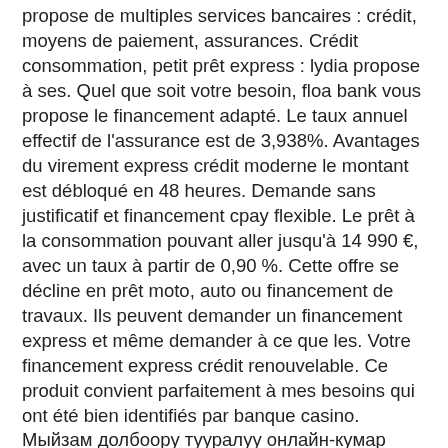propose de multiples services bancaires : crédit, moyens de paiement, assurances. Crédit consommation, petit prêt express : lydia propose à ses. Quel que soit votre besoin, floa bank vous propose le financement adapté. Le taux annuel effectif de l'assurance est de 3,938%. Avantages du virement express crédit moderne le montant est débloqué en 48 heures. Demande sans justificatif et financement cpay flexible. Le prêt à la consommation pouvant aller jusqu'à 14 990 €, avec un taux à partir de 0,90 %. Cette offre se décline en prêt moto, auto ou financement de travaux. Ils peuvent demander un financement express et même demander à ce que les. Votre financement express crédit renouvelable. Ce produit convient parfaitement à mes besoins qui ont été bien identifiés par banque casino. Мыйзам долбоору тууралуу онлайн-кумар оюндарына америкалык делавэр